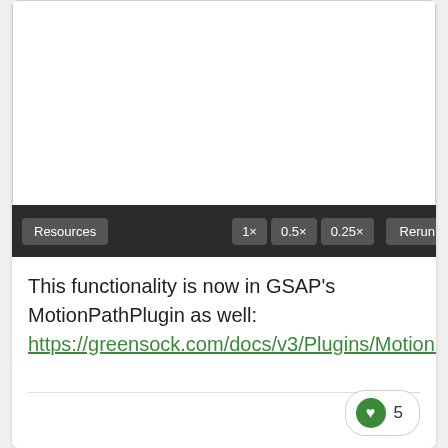[Figure (screenshot): Animation preview area with dark toolbar showing Resources button, speed controls (1×, 0.5×, 0.25×), and Rerun button]
This functionality is now in GSAP's MotionPathPlugin as well: https://greensock.com/docs/v3/Plugins/MotionPathPlugin/static.convertCoordinates()